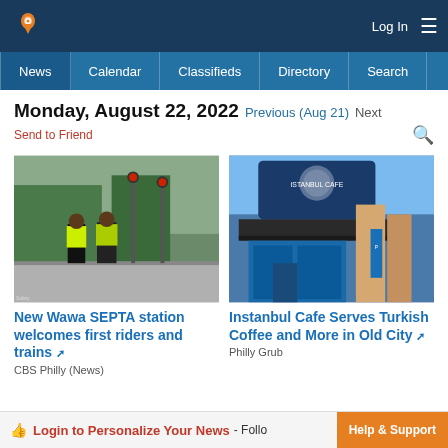Logo | Log In | Menu
News | Calendar | Classifieds | Directory | Search
Monday, August 22, 2022  Previous (Aug 21)  Next
Send to Friend
[Figure (photo): Two workers in yellow safety vests standing on a train platform with red signal lights in background]
New Wawa SEPTA station welcomes first riders and trains
CBS Philly (News)
[Figure (photo): Exterior of Istanbul Cafe storefront with blue signage in Old City]
Instanbul Cafe Serves Turkish Coffee and More in Old City
Philly Grub
Login to Personalize Your News - Follo
Help & Support